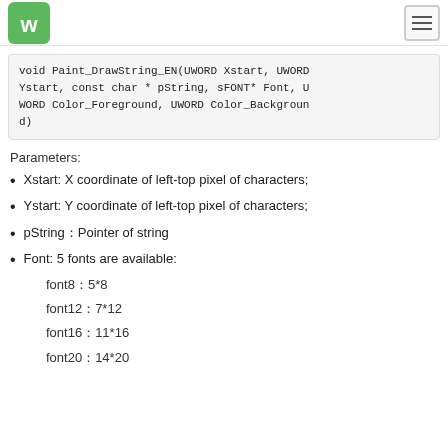Waveshare logo and navigation
void Paint_DrawString_EN(UWORD Xstart, UWORD Ystart, const char * pString, sFONT* Font, UWORD Color_Foreground, UWORD Color_Background)
Parameters:
Xstart: X coordinate of left-top pixel of characters;
Ystart: Y coordinate of left-top pixel of characters;
pString：Pointer of string
Font: 5 fonts are available:
font8：5*8
font12：7*12
font16：11*16
font20：14*20